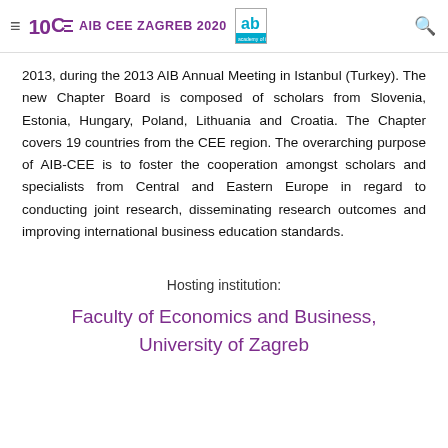AIB CEE ZAGREB 2020
2013, during the 2013 AIB Annual Meeting in Istanbul (Turkey). The new Chapter Board is composed of scholars from Slovenia, Estonia, Hungary, Poland, Lithuania and Croatia. The Chapter covers 19 countries from the CEE region. The overarching purpose of AIB-CEE is to foster the cooperation amongst scholars and specialists from Central and Eastern Europe in regard to conducting joint research, disseminating research outcomes and improving international business education standards.
Hosting institution:
Faculty of Economics and Business, University of Zagreb